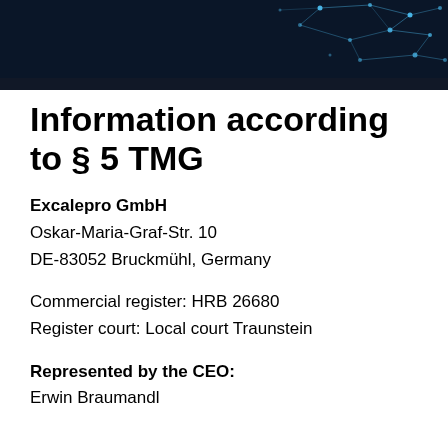[Figure (illustration): Dark navy blue banner header with geometric network/polygon dot-and-line pattern in cyan/light blue on the right side, with a dark horizontal bar beneath it]
Information according to § 5 TMG
Excalepro GmbH
Oskar-Maria-Graf-Str. 10
DE-83052 Bruckmühl, Germany
Commercial register: HRB 26680
Register court: Local court Traunstein
Represented by the CEO:
Erwin Braumandl